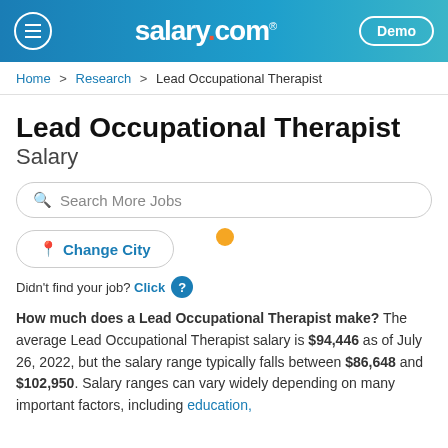salary.com | Demo
Home > Research > Lead Occupational Therapist
Lead Occupational Therapist Salary
Search More Jobs
Change City
Didn't find your job? Click ?
How much does a Lead Occupational Therapist make? The average Lead Occupational Therapist salary is $94,446 as of July 26, 2022, but the salary range typically falls between $86,648 and $102,950. Salary ranges can vary widely depending on many important factors, including education,